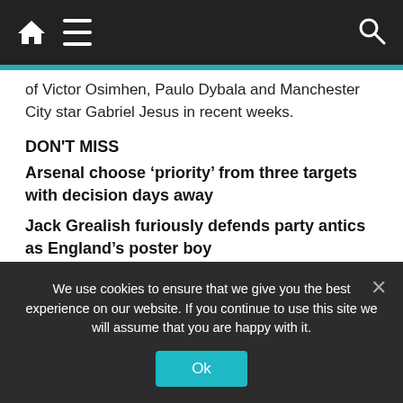Navigation bar with home, menu, and search icons
of Victor Osimhen, Paulo Dybala and Manchester City star Gabriel Jesus in recent weeks.
DON'T MISS
Arsenal choose ‘priority’ from three targets with decision days away
Jack Grealish furiously defends party antics as England’s poster boy
Newcastle can make four free signings to challenge for Europa League
Jesus has emerged as the Gunners top transfer target
We use cookies to ensure that we give you the best experience on our website. If you continue to use this site we will assume that you are happy with it.